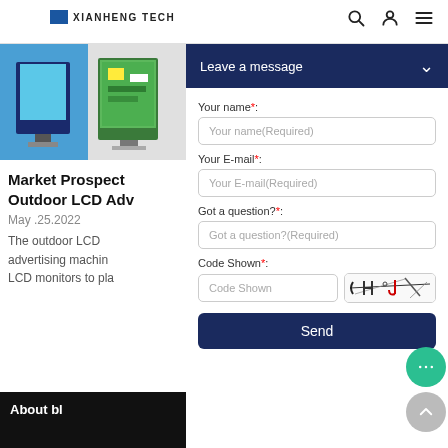XIANHENG TECH
[Figure (photo): Product images of outdoor LCD advertising display stands shown in banner]
Market Prospect Outdoor LCD Adv
May .25.2022
The outdoor LCD advertising machin LCD monitors to pla
Leave a message
Your name*:
Your name(Required)
Your E-mail*:
Your E-mail(Required)
Got a question?*:
Got a question?(Required)
Code Shown*:
Code Shown
Send
About bl